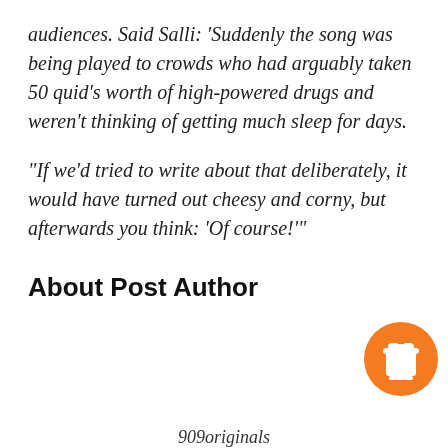audiences. Said Salli: 'Suddenly the song was being played to crowds who had arguably taken 50 quid's worth of high-powered drugs and weren't thinking of getting much sleep for days.
“If we’d tried to write about that deliberately, it would have turned out cheesy and corny, but afterwards you think: ‘Of course!’”
About Post Author
[Figure (illustration): Orange circle button with a coffee cup icon (take-away cup with lid), resembling a 'Buy Me a Coffee' button]
909originals